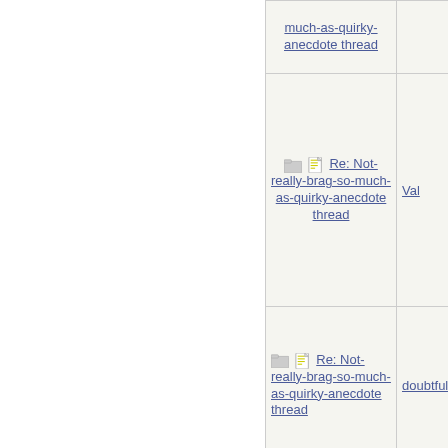| Subject | Author |
| --- | --- |
| much-as-quirky-anecdote thread |  |
| Re: Not-really-brag-so-much-as-quirky-anecdote thread | Val |
| Re: Not-really-brag-so-much-as-quirky-anecdote thread | doubtfulg |
| Re: Not-really-brag-so-much-as-quirky-anecdote thread | Dude |
| Re: Not-really-brag-so-much-as-quirky-anecdote thread | doubtfulg |
| Re: Not-really-brag-so-much-as-quirky-anecdote thread | aquinas |
| Re: Not-really-brag-so-much-as-quirky-anecdote thread | HowlerKa |